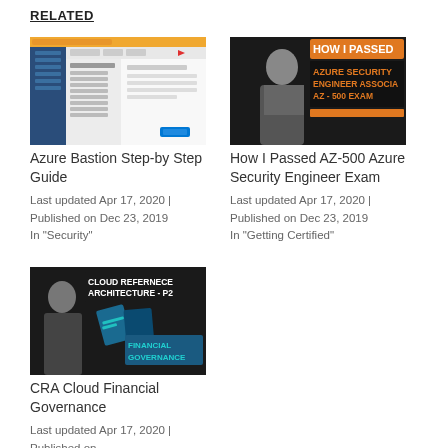RELATED
[Figure (screenshot): Screenshot of Azure portal management interface showing navigation pane and dashboard]
Azure Bastion Step-by Step Guide
Last updated Apr 17, 2020 | Published on Dec 23, 2019
In "Security"
[Figure (photo): Promotional image: man in suit with text 'HOW I PASSED AZURE SECURITY ENGINEER ASSOCIATE AZ-500 EXAM' in orange and white on dark background]
How I Passed AZ-500 Azure Security Engineer Exam
Last updated Apr 17, 2020 | Published on Dec 23, 2019
In "Getting Certified"
[Figure (photo): Promotional image: man with text 'CLOUD REFERNECE ARCHITECTURE - P2' and 'FINANCIAL GOVERNANCE' on dark background]
CRA Cloud Financial Governance
Last updated Apr 17, 2020 | Published on